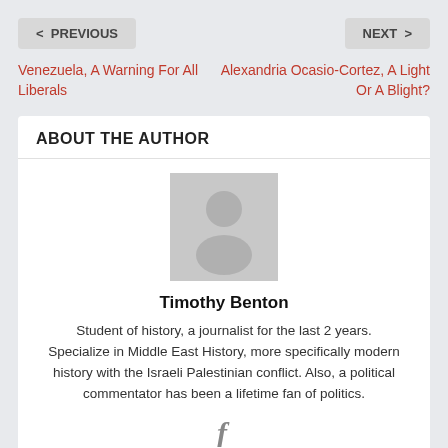< PREVIOUS
NEXT >
Venezuela, A Warning For All Liberals
Alexandria Ocasio-Cortez, A Light Or A Blight?
ABOUT THE AUTHOR
[Figure (illustration): Generic user avatar placeholder image in gray]
Timothy Benton
Student of history, a journalist for the last 2 years. Specialize in Middle East History, more specifically modern history with the Israeli Palestinian conflict. Also, a political commentator has been a lifetime fan of politics.
[Figure (logo): Facebook f icon in gray]